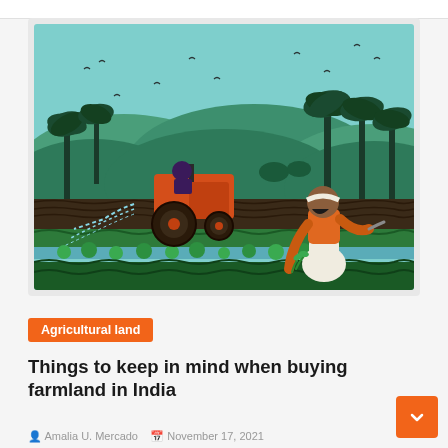[Figure (illustration): Agricultural illustration showing an Indian farmer planting seedlings in the foreground (wearing white dhoti and orange shirt with a white headband), a red tractor being driven by another figure in the middle ground, green crop rows with irrigation, palm trees and green hills in the background under a teal sky with birds.]
Agricultural land
Things to keep in mind when buying farmland in India
Amalia U. Mercado   November 17, 2021